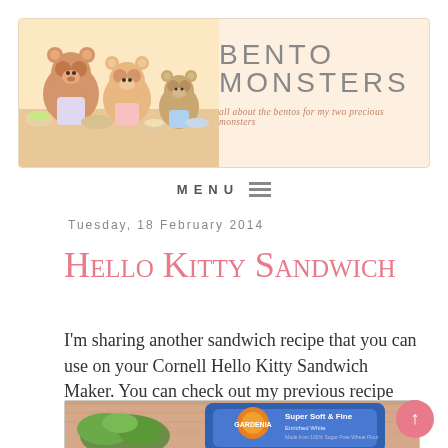BENTO MONSTERS — all about the bentos for my two precious monsters
MENU
Tuesday, 18 February 2014
Hello Kitty Sandwich
I'm sharing another sandwich recipe that you can use on your Cornell Hello Kitty Sandwich Maker. You can check out my previous recipe HERE.
[Figure (photo): Photo of bread packaging — Gardenia Super Soft & Fine Enriched White bread bag, with some vegetables visible on the left side.]